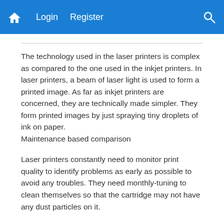🏠  Login  Register  🔍
The technology used in the laser printers is complex as compared to the one used in the inkjet printers. In laser printers, a beam of laser light is used to form a printed image. As far as inkjet printers are concerned, they are technically made simpler. They form printed images by just spraying tiny droplets of ink on paper.
Maintenance based comparison
Laser printers constantly need to monitor print quality to identify problems as early as possible to avoid any troubles. They need monthly-tuning to clean themselves so that the cartridge may not have any dust particles on it.
Inkjet printers are like little plastic boxes having some electronics crammed inside, but they are actually very fine pieces of hardware. Printers like inkjet need much care and attention as compared to the inkjet printers.